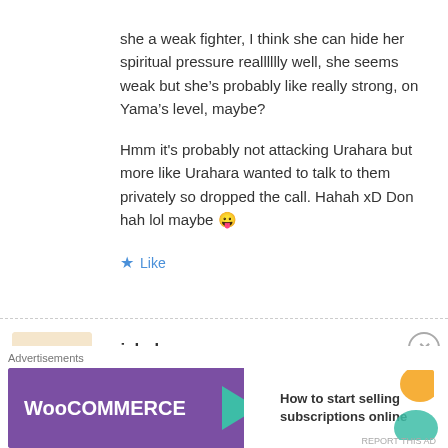she a weak fighter, I think she can hide her spiritual pressure realllllly well, she seems weak but she’s probably like really strong, on Yama’s level, maybe?

Hmm it's probably not attacking Urahara but more like Urahara wanted to talk to them privately so dropped the call. Hahah xD Don hah lol maybe 😛
★ Like
nick dunn
July 25, 2012 at 5:51 pm
[Figure (other): Advertisement banner for WooCommerce: 'How to start selling subscriptions online']